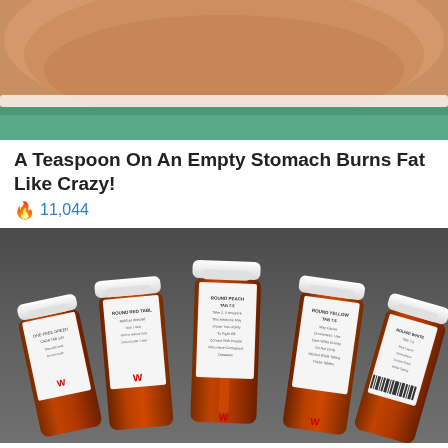[Figure (photo): Close-up photo of a person's midsection/belly with a white strap or waistband visible]
A Teaspoon On An Empty Stomach Burns Fat Like Crazy!
🔥 11,044
[Figure (photo): Photo of multiple Walgreens prescription pill bottles (amber/orange) laid out on a surface, showing their white labels]
Why Doctors In The Know No Longer Prescribe Blood Pressure Meds